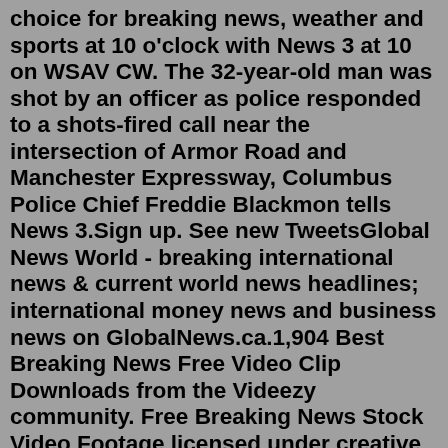choice for breaking news, weather and sports at 10 o'clock with News 3 at 10 on WSAV CW. The 32-year-old man was shot by an officer as police responded to a shots-fired call near the intersection of Armor Road and Manchester Expressway, Columbus Police Chief Freddie Blackmon tells News 3.Sign up. See new TweetsGlobal News World - breaking international news & current world news headlines; international money news and business news on GlobalNews.ca.1,904 Best Breaking News Free Video Clip Downloads from the Videezy community. Free Breaking News Stock Video Footage licensed under creative commons, open source, and more!Collierville Police Chief Dale Lane confirmed 13 people were shot, and one person killed. The suspected shooter also is dead, possibly from a self-inflicted gunshot, Lane said. Friday, Lane said ...9 hours ago · Jared Kushner, former President Donald Trump's son-in-law and a top White House adviser in his administration, claims in a new book that Trump's chief of staff, John Kelly, once shoved his wife